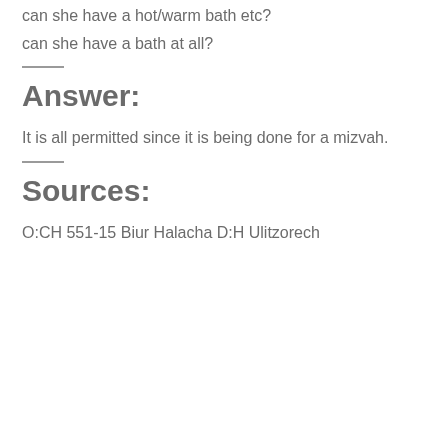can she have a hot/warm bath etc?
can she have a bath at all?
Answer:
It is all permitted since it is being done for a mizvah.
Sources:
O:CH 551-15 Biur Halacha D:H Ulitzorech